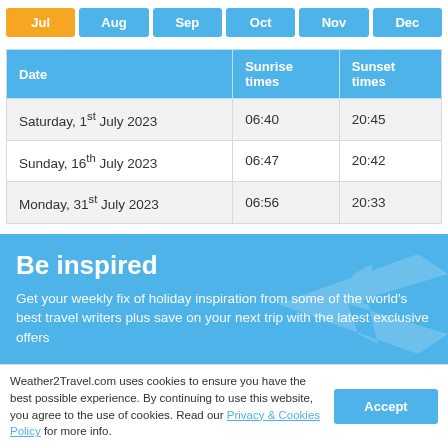Jul | Aug | Sep | Oct | Nov | Dec
| Date | Sunrise times | Sunset times |
| --- | --- | --- |
| Saturday, 1st July 2023 | 06:40 | 20:45 |
| Sunday, 16th July 2023 | 06:47 | 20:42 |
| Monday, 31st July 2023 | 06:56 | 20:33 |
Be inspired
Get your weekly fix of holiday inspiration from some of the world's best travel writers plus save on your next trip with the latest exclusive offers
Weather2Travel.com uses cookies to ensure you have the best possible experience. By continuing to use this website, you agree to the use of cookies. Read our Privacy & Cookies Policy for more info.